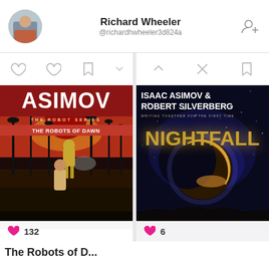Richard Wheeler @richardhwheeler3d824a
[Figure (photo): Social media profile page for Richard Wheeler (@richardhwheeler3d824a) showing two science fiction book covers: 'The Robots of Dawn' by Asimov (132 likes) and 'Nightfall' by Isaac Asimov & Robert Silverberg (6 likes)]
The Robots of D...